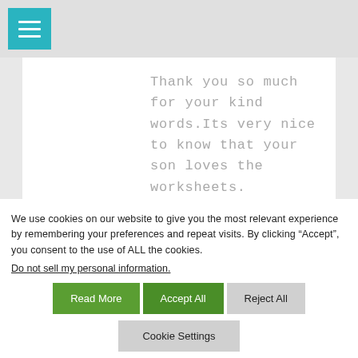Thank you so much for your kind words.Its very nice to know that your son loves the worksheets.
We use cookies on our website to give you the most relevant experience by remembering your preferences and repeat visits. By clicking “Accept”, you consent to the use of ALL the cookies.
Do not sell my personal information.